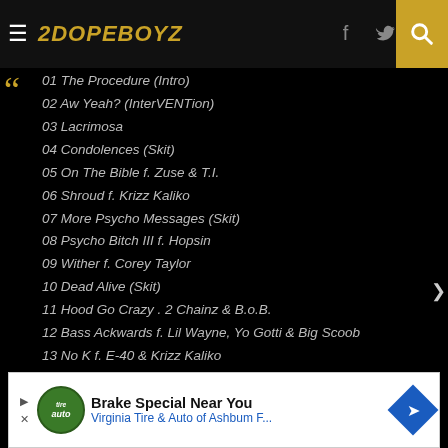2DOPEBOYZ
01 The Procedure (Intro)
02 Aw Yeah? (InterVENTion)
03 Lacrimosa
04 Condolences (Skit)
05 On The Bible f. Zuse & T.I.
06 Shroud f. Krizz Kaliko
07 More Psycho Messages (Skit)
08 Psycho Bitch III f. Hopsin
09 Wither f. Corey Taylor
10 Dead Alive (Skit)
11 Hood Go Crazy . 2 Chainz & B.o.B.
12 Bass Ackwards f. Lil Wayne, Yo Gotti & Big Scoob
13 No K f. E-40 & Krizz Kaliko
14 Countdown (Skit)
15 Speedom (WWC2) f. Eminem & Krizz Kaliko
[Figure (other): Advertisement banner: Brake Special Near You - Virginia Tire & Auto of Ashbum F...]